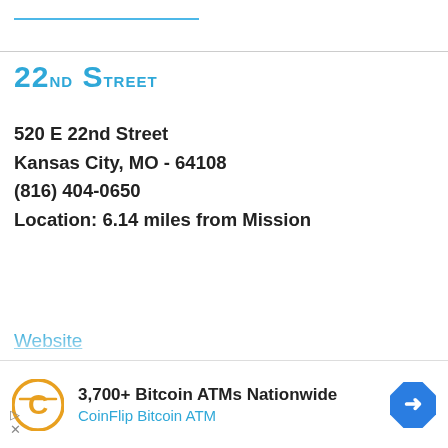22nd Street
520 E 22nd Street
Kansas City, MO - 64108
(816) 404-0650
Location: 6.14 miles from Mission
Website
Office hours 8-4:30 M-F What is WIC? WIC is a supplemental nutrition program for women, infants and children. WIC helps to prevent health problems and improve the health status of participants through
3,700+ Bitcoin ATMs Nationwide
CoinFlip Bitcoin ATM